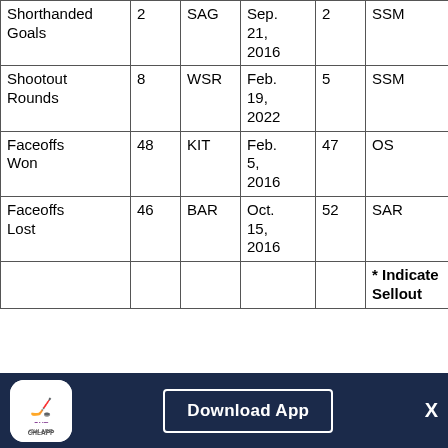| Stat | Value | Opp | Date | Value2 | Location |
| --- | --- | --- | --- | --- | --- |
| Shorthanded Goals | 2 | SAG | Sep. 21, 2016 | 2 | SSM |
| Shootout Rounds | 8 | WSR | Feb. 19, 2022 | 5 | SSM |
| Faceoffs Won | 48 | KIT | Feb. 5, 2016 | 47 | OS |
| Faceoffs Lost | 46 | BAR | Oct. 15, 2016 | 52 | SAR |
|  |  |  |  |  | * Indicates Sellout |
CHL APP | Download App | X